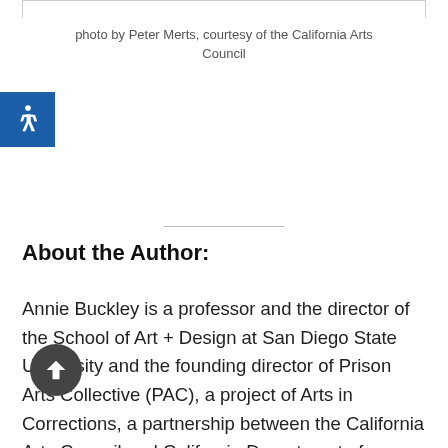photo by Peter Merts, courtesy of the California Arts Council
About the Author:
Annie Buckley is a professor and the director of the School of Art + Design at San Diego State University and the founding director of Prison Arts Collective (PAC), a project of Arts in Corrections, a partnership between the California Arts Council and California Department of Corrections and Rehabilitation. PAC provides